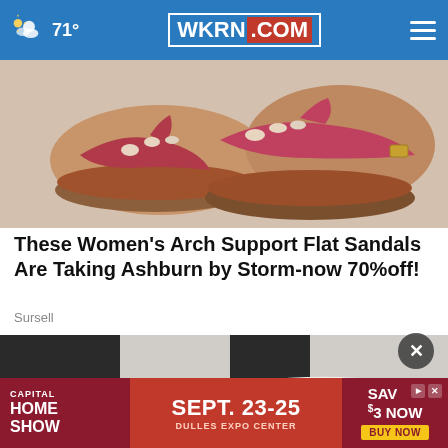71° WKRN.COM
[Figure (photo): Close-up photo of feet wearing red/pink arch support flat sandals with toe post design and buckle strap]
These Women's Arch Support Flat Sandals Are Taking Ashburn by Storm-now 70%off!
Sursell
[Figure (photo): Close-up photo of a white lace-up sneaker on a person's foot, worn with black pants]
[Figure (other): Capital Home Show advertisement banner: SEPT. 23-25, DULLES EXPO CENTER, SAVE $3 NOW, BUY NOW]